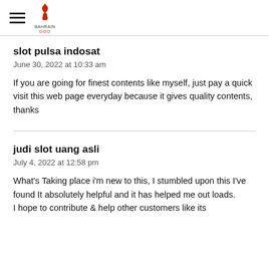Bahrain Olympic Committee
slot pulsa indosat
June 30, 2022 at 10:33 am
If you are going for finest contents like myself, just pay a quick visit this web page everyday because it gives quality contents, thanks
judi slot uang asli
July 4, 2022 at 12:58 pm
What's Taking place i'm new to this, I stumbled upon this I've found It absolutely helpful and it has helped me out loads. I hope to contribute & help other customers like its